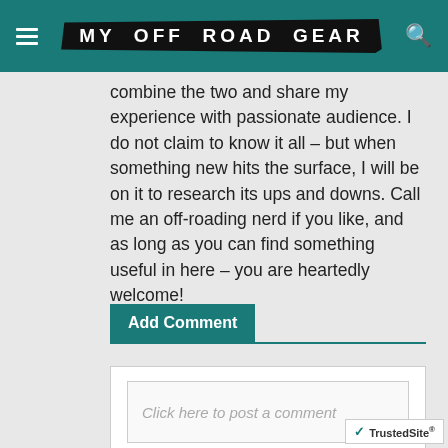MY OFF ROAD GEAR
combine the two and share my experience with passionate audience. I do not claim to know it all – but when something new hits the surface, I will be on it to research its ups and downs. Call me an off-roading nerd if you like, and as long as you can find something useful in here – you are heartedly welcome!
Add Comment
Click here to post a comment